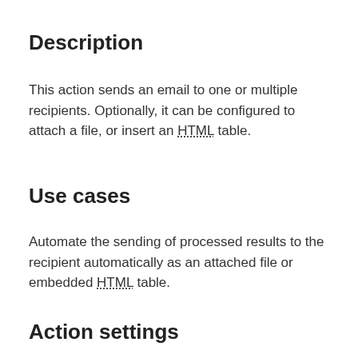Description
This action sends an email to one or multiple recipients. Optionally, it can be configured to attach a file, or insert an HTML table.
Use cases
Automate the sending of processed results to the recipient automatically as an attached file or embedded HTML table.
Action settings